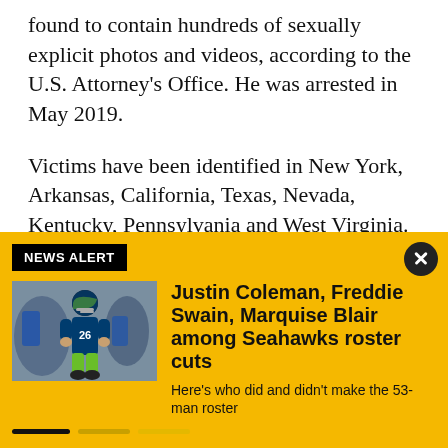found to contain hundreds of sexually explicit photos and videos, according to the U.S. Attorney's Office. He was arrested in May 2019.
Victims have been identified in New York, Arkansas, California, Texas, Nevada, Kentucky, Pennsylvania and West Virginia. The victims were between 12 and 16 years old, according to the U.S. Attorney's Office.
Donald Voiret, special agent in charge for the FBI
[Figure (screenshot): NEWS ALERT notification overlay on yellow background featuring a photo of a Seattle Seahawks player and headline: Justin Coleman, Freddie Swain, Marquise Blair among Seahawks roster cuts. Subtext: Here's who did and didn't make the 53-man roster.]